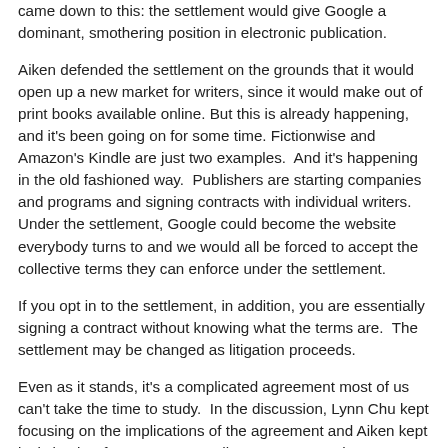came down to this: the settlement would give Google a dominant, smothering position in electronic publication.
Aiken defended the settlement on the grounds that it would open up a new market for writers, since it would make out of print books available online. But this is already happening, and it's been going on for some time. Fictionwise and Amazon's Kindle are just two examples.  And it's happening in the old fashioned way.  Publishers are starting companies and programs and signing contracts with individual writers. Under the settlement, Google could become the website everybody turns to and we would all be forced to accept the collective terms they can enforce under the settlement.
If you opt in to the settlement, in addition, you are essentially signing a contract without knowing what the terms are.  The settlement may be changed as litigation proceeds.
Even as it stands, it's a complicated agreement most of us can't take the time to study.  In the discussion, Lynn Chu kept focusing on the implications of the agreement and Aiken kept insisting her fears were groundless.  But to me she was